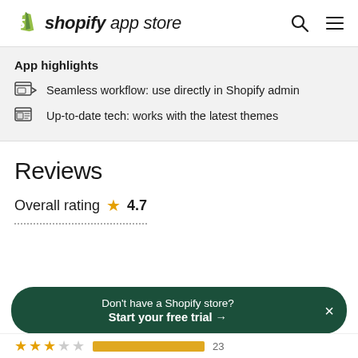Shopify app store
App highlights
Seamless workflow: use directly in Shopify admin
Up-to-date tech: works with the latest themes
Reviews
Overall rating ★ 4.7
Don't have a Shopify store? Start your free trial →